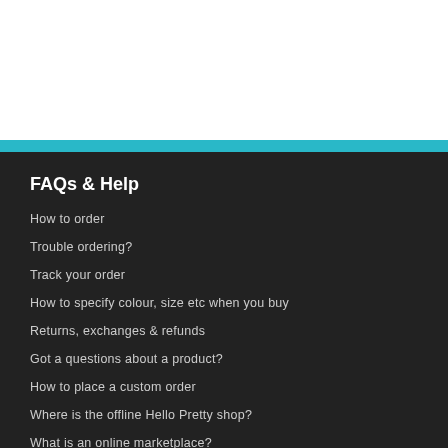FAQs & Help
How to order
Trouble ordering?
Track your order
How to specify colour, size etc when you buy
Returns, exchanges & refunds
Got a questions about a product?
How to place a custom order
Where is the offline Hello Pretty shop?
What is an online marketplace?